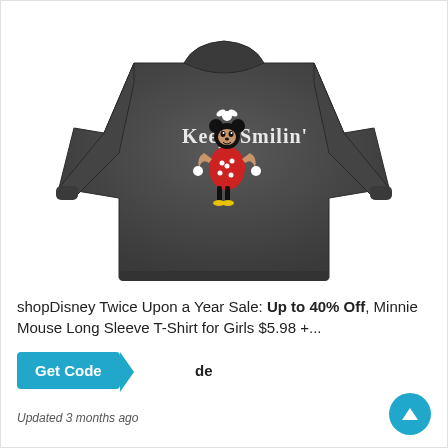[Figure (photo): Dark gray long sleeve t-shirt with Minnie Mouse graphic and text 'Keep Smilin'' printed on the front, on a white background.]
shopDisney Twice Upon a Year Sale: Up to 40% Off, Minnie Mouse Long Sleeve T-Shirt for Girls $5.98 +...
Get Code
de
Updated 3 months ago